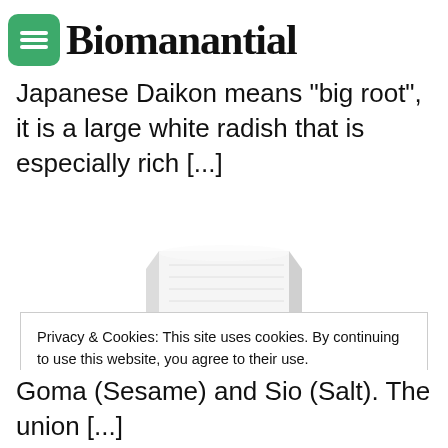Biomanantial
Japanese Daikon means "big root", it is a large white radish that is especially rich [...]
[Figure (photo): A block of white daikon radish sitting on a dark round plate, photographed against a white background.]
Privacy & Cookies: This site uses cookies. By continuing to use this website, you agree to their use.
To find out more, including how to control cookies, see here: Cookie policy
Goma (Sesame) and Sio (Salt). The union [...]